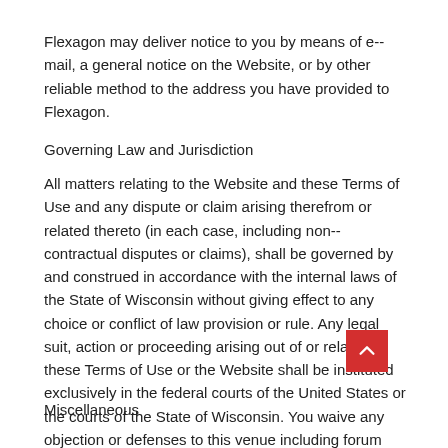Flexagon may deliver notice to you by means of e--mail, a general notice on the Website, or by other reliable method to the address you have provided to Flexagon.
Governing Law and Jurisdiction
All matters relating to the Website and these Terms of Use and any dispute or claim arising therefrom or related thereto (in each case, including non--contractual disputes or claims), shall be governed by and construed in accordance with the internal laws of the State of Wisconsin without giving effect to any choice or conflict of law provision or rule. Any legal suit, action or proceeding arising out of or related to these Terms of Use or the Website shall be instituted exclusively in the federal courts of the United States or the courts of the State of Wisconsin. You waive any objection or defenses to this venue including forum non conveniens.
Miscellaneous